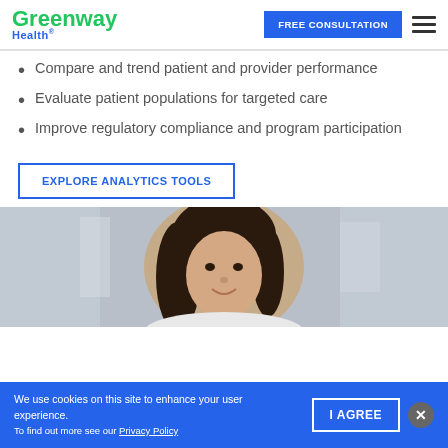Greenway Health — FREE CONSULTATION
Compare and trend patient and provider performance
Evaluate patient populations for targeted care
Improve regulatory compliance and program participation
EXPLORE ANALYTICS TOOLS
[Figure (photo): Professional headshot of a dark-haired woman smiling, blurred office background]
We use cookies on this site to enhance your user experience. To find out more see our Privacy Policy. I AGREE